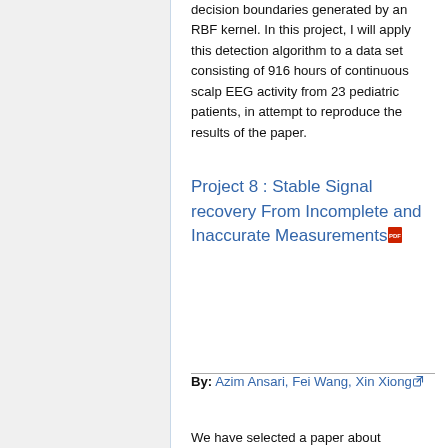decision boundaries generated by an RBF kernel. In this project, I will apply this detection algorithm to a data set consisting of 916 hours of continuous scalp EEG activity from 23 pediatric patients, in attempt to reproduce the results of the paper.
Project 8 : Stable Signal recovery From Incomplete and Inaccurate Measurements
By: Azim Ansari, Fei Wang, Xin Xiong
We have selected a paper about